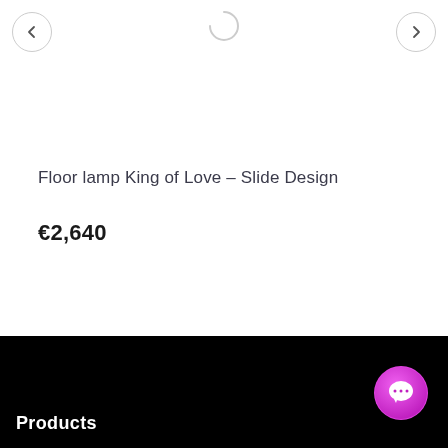[Figure (screenshot): Navigation arrows (left and right) and a partial circle/loading icon in the center at the top of the page]
Floor lamp King of Love – Slide Design
€2,640
Products